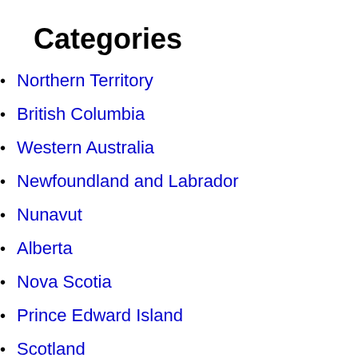Categories
Northern Territory
British Columbia
Western Australia
Newfoundland and Labrador
Nunavut
Alberta
Nova Scotia
Prince Edward Island
Scotland